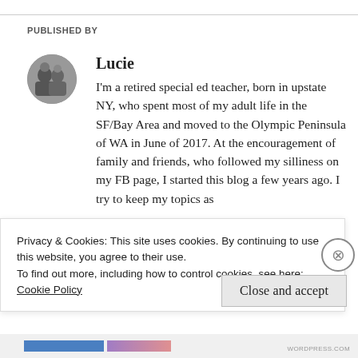PUBLISHED BY
[Figure (photo): Circular avatar photo of Lucie, a black-and-white image of two people]
Lucie
I'm a retired special ed teacher, born in upstate NY, who spent most of my adult life in the SF/Bay Area and moved to the Olympic Peninsula of WA in June of 2017. At the encouragement of family and friends, who followed my silliness on my FB page, I started this blog a few years ago. I try to keep my topics as
Privacy & Cookies: This site uses cookies. By continuing to use this website, you agree to their use.
To find out more, including how to control cookies, see here: Cookie Policy
Close and accept